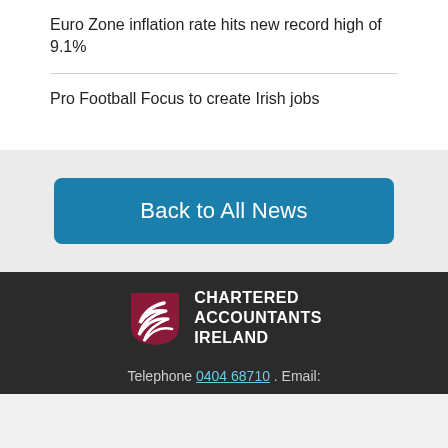Euro Zone inflation rate hits new record high of 9.1%
Pro Football Focus to create Irish jobs
Back to All News
[Figure (logo): Chartered Accountants Ireland logo with shield and swoosh graphic]
Telephone 0404 68710 . Email: